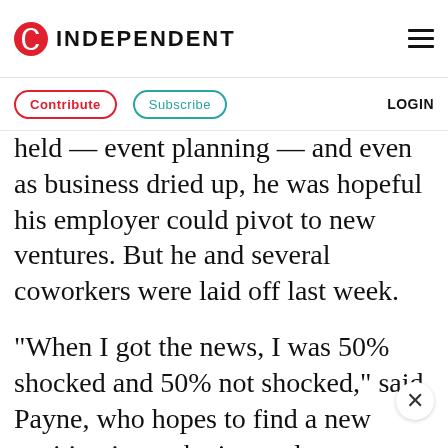INDEPENDENT
Contribute   Subscribe   LOGIN
held — event planning — and even as business dried up, he was hopeful his employer could pivot to new ventures. But he and several coworkers were laid off last week.
“When I got the news, I was 50% shocked and 50% not shocked,” said Payne, who hopes to find a new position in marketing and return to event planning once the pandemic passes.
“Right now, I’m definitely sitting with the emotions and allowing myself to feel them,” he said. “But I have confidence in the future. I’m